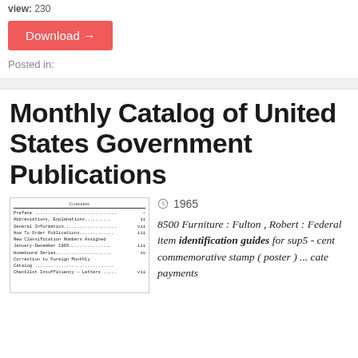view: 230
Download →
Posted in:
Monthly Catalog of United States Government Publications
1965
[Figure (other): Thumbnail of the publication Contents page]
8500 Furniture : Fulton , Robert : Federal item identification guides for sup5 - cent commemorative stamp ( poster ) ... cate payments